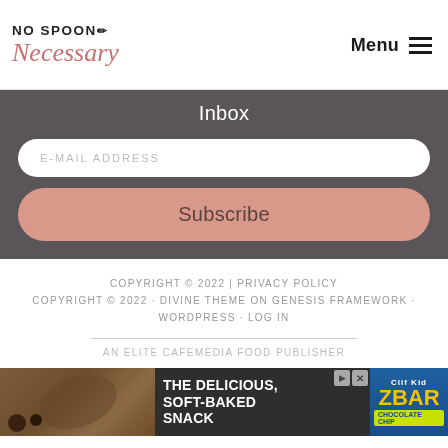[Figure (logo): No Spoon Necessary logo with script text]
Menu ≡
Inbox
E-MAIL ADDRESS
Subscribe
COPYRIGHT © 2022 | PRIVACY POLICY
COPYRIGHT © 2022 · DIVINE THEME ON GENESIS FRAMEWORK ·
WORDPRESS · LOG IN
AN ELITE CAFEMEDIA FOOD PUBLISHER
[Figure (photo): Advertisement banner: THE DELICIOUS, SOFT-BAKED SNACK with ZBAR branding]